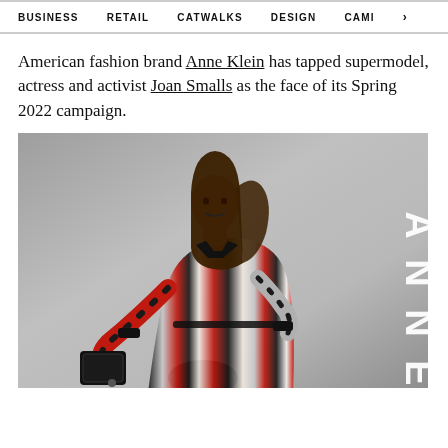BUSINESS   RETAIL   CATWALKS   DESIGN   CAMI >
American fashion brand Anne Klein has tapped supermodel, actress and activist Joan Smalls as the face of its Spring 2022 campaign.
[Figure (photo): Joan Smalls wearing a red, white, and black striped dress with a black handbag, posing dynamically against a grey background. The word ANNE is vertically displayed on the right side of the image in large white letters.]